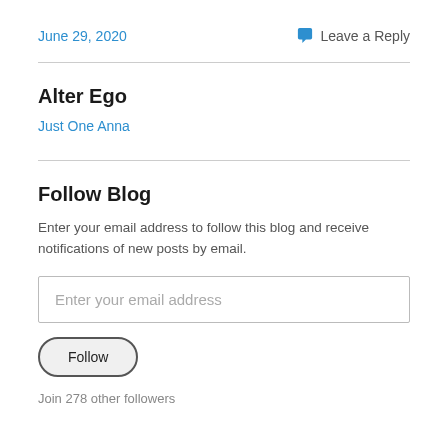June 29, 2020  Leave a Reply
Alter Ego
Just One Anna
Follow Blog
Enter your email address to follow this blog and receive notifications of new posts by email.
Enter your email address
Follow
Join 278 other followers